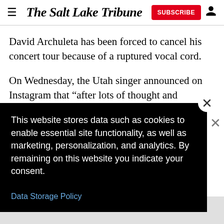The Salt Lake Tribune
David Archuleta has been forced to cancel his concert tour because of a ruptured vocal cord.
On Wednesday, the Utah singer announced on Instagram that “after lots of thought and consideration with my [team, I’ve decided I need to can]cel the OK, […] d several […] l and [had] lamage. I
This website stores data such as cookies to enable essential site functionality, as well as marketing, personalization, and analytics. By remaining on this website you indicate your consent.
Data Storage Policy